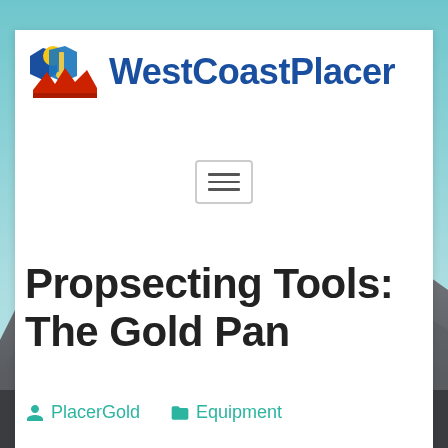[Figure (screenshot): WestCoastPlacer website header screenshot showing logo with mountain/shovel graphic, site name in blue, hamburger navigation button, article title 'Propsecting Tools: The Gold Pan', and metadata links for PlacerGold and Equipment categories. Background shows mountain landscape with teal sky.]
Propsecting Tools: The Gold Pan
PlacerGold   Equipment